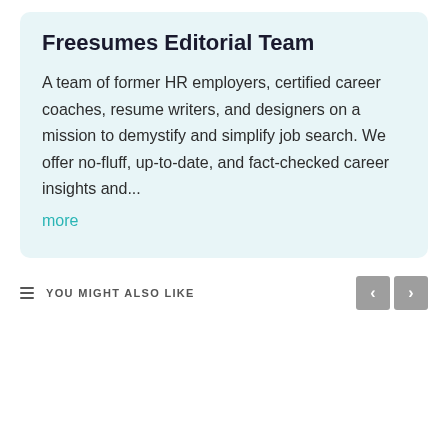Freesumes Editorial Team
A team of former HR employers, certified career coaches, resume writers, and designers on a mission to demystify and simplify job search. We offer no-fluff, up-to-date, and fact-checked career insights and...
more
YOU MIGHT ALSO LIKE